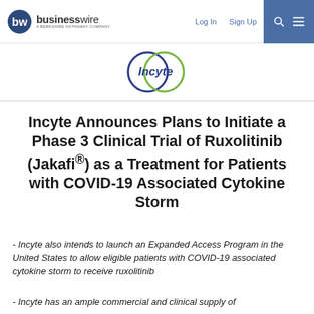businesswire - A BERKSHIRE HATHAWAY COMPANY | Log In | Sign Up
[Figure (logo): Incyte logo — two overlapping circles (dark blue and green) with 'Incyte' text in dark blue]
Incyte Announces Plans to Initiate a Phase 3 Clinical Trial of Ruxolitinib (Jakafi®) as a Treatment for Patients with COVID-19 Associated Cytokine Storm
- Incyte also intends to launch an Expanded Access Program in the United States to allow eligible patients with COVID-19 associated cytokine storm to receive ruxolitinib
- Incyte has an ample commercial and clinical supply of